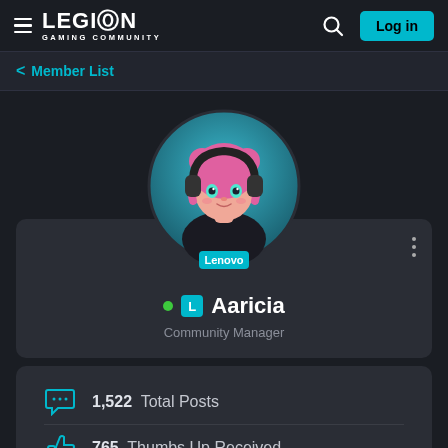LEGION GAMING COMMUNITY — Log in
< Member List
[Figure (illustration): Animated avatar of a girl with pink hair, headphones, and a Lenovo shirt, inside a circular teal gradient background. A Lenovo badge appears at the bottom of the avatar.]
● L Aaricia
Community Manager
1,522  Total Posts
765  Thumbs Up Received